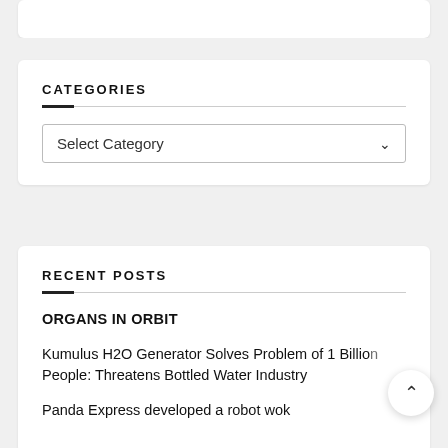CATEGORIES
Select Category
RECENT POSTS
ORGANS IN ORBIT
Kumulus H2O Generator Solves Problem of 1 Billion People: Threatens Bottled Water Industry
Panda Express developed a robot wok